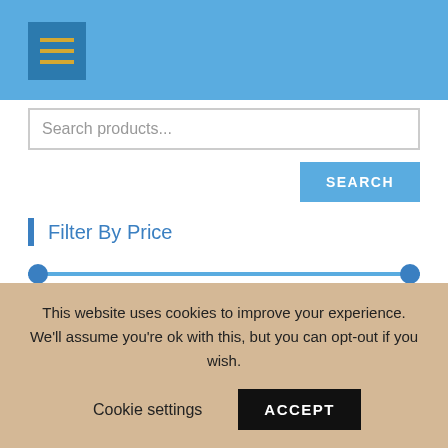Navigation menu header bar with hamburger menu icon
Search products...
SEARCH
Filter By Price
PRICE: €560 — €680
FILTER
Product Categories
This website uses cookies to improve your experience. We'll assume you're ok with this, but you can opt-out if you wish.
Cookie settings
ACCEPT